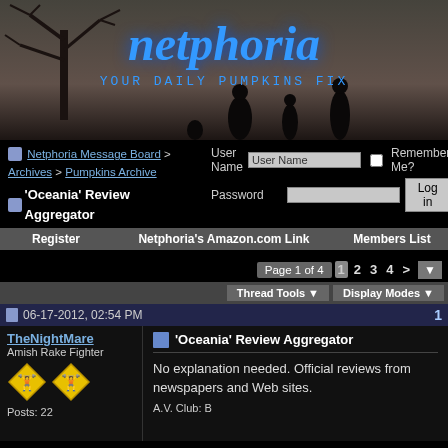[Figure (screenshot): Netphoria website banner with dark silhouette background, blue italic logo text 'netphoria' and subtitle 'YOUR DAILY PUMPKINS FIX']
Netphoria Message Board > Archives > Pumpkins Archive
'Oceania' Review Aggregator
User Name | Password | Remember Me? | Log in
Register | Netphoria's Amazon.com Link | Members List
Page 1 of 4  1  2  3  4  >
Thread Tools ▼  Display Modes ▼
06-17-2012, 02:54 PM  1
TheNightMare
Amish Rake Fighter
Posts: 22
'Oceania' Review Aggregator
No explanation needed. Official reviews from newspapers and Web sites.
A.V. Club: B